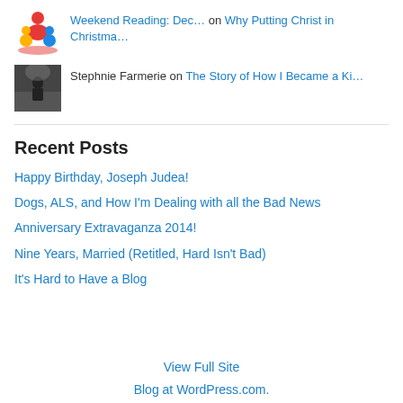Weekend Reading: Dec… on Why Putting Christ in Christma…
Stephnie Farmerie on The Story of How I Became a Ki…
Recent Posts
Happy Birthday, Joseph Judea!
Dogs, ALS, and How I'm Dealing with all the Bad News
Anniversary Extravaganza 2014!
Nine Years, Married (Retitled, Hard Isn't Bad)
It's Hard to Have a Blog
View Full Site
Blog at WordPress.com.